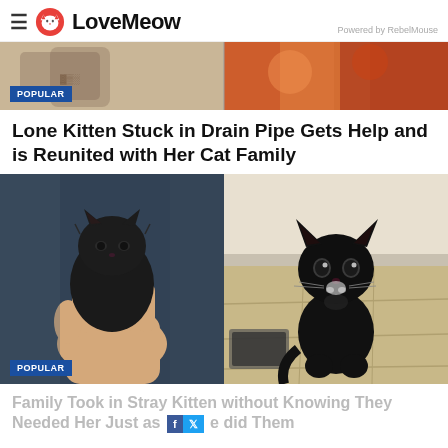LoveMeow — Powered by RebelMouse
[Figure (photo): Partial top image strip showing tattooed arm and colorful blanket, with POPULAR badge overlay]
Lone Kitten Stuck in Drain Pipe Gets Help and is Reunited with Her Cat Family
[Figure (photo): Two photos side by side: left shows a tiny black kitten being held in a human hand; right shows a slightly older black kitten sitting upright looking at camera with wide eyes. POPULAR badge in lower left.]
Family Took in Stray Kitten without Knowing They Needed Her Just as Much as She did Them